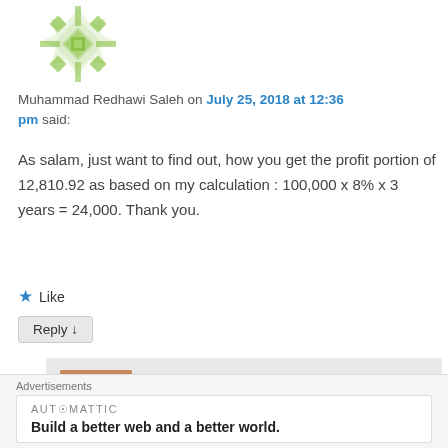[Figure (illustration): Green and white geometric avatar icon for Muhammad Redhawi Saleh]
Muhammad Redhawi Saleh on July 25, 2018 at 12:36 pm said:
As salam, just want to find out, how you get the profit portion of 12,810.92 as based on my calculation : 100,000 x 8% x 3 years = 24,000. Thank you.
★ Like
Reply ↓
[Figure (photo): Profile photo of Amir Alfatakh, a man in a suit]
Amir Alfatakh on July 31, 2018 at 1:51 pm said:
Advertisements
AUTOMATTIC
Build a better web and a better world.